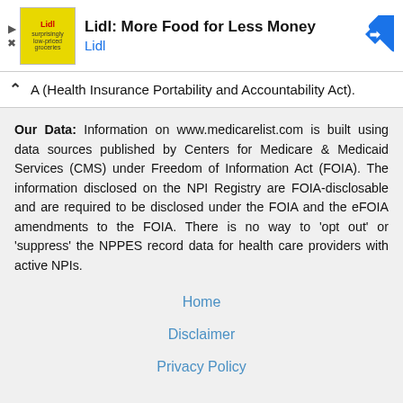[Figure (other): Advertisement banner for Lidl: More Food for Less Money with Lidl logo and navigation icon]
A (Health Insurance Portability and Accountability Act).
Our Data: Information on www.medicarelist.com is built using data sources published by Centers for Medicare & Medicaid Services (CMS) under Freedom of Information Act (FOIA). The information disclosed on the NPI Registry are FOIA-disclosable and are required to be disclosed under the FOIA and the eFOIA amendments to the FOIA. There is no way to 'opt out' or 'suppress' the NPPES record data for health care providers with active NPIs.
Home
Disclaimer
Privacy Policy